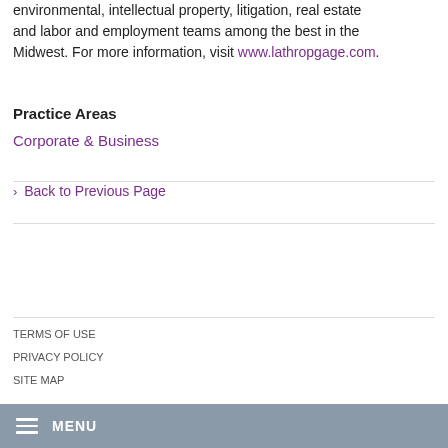environmental, intellectual property, litigation, real estate and labor and employment teams among the best in the Midwest. For more information, visit www.lathropgage.com.
Practice Areas
Corporate & Business
› Back to Previous Page
TERMS OF USE
PRIVACY POLICY
SITE MAP
© 2020 LATHROP.COM